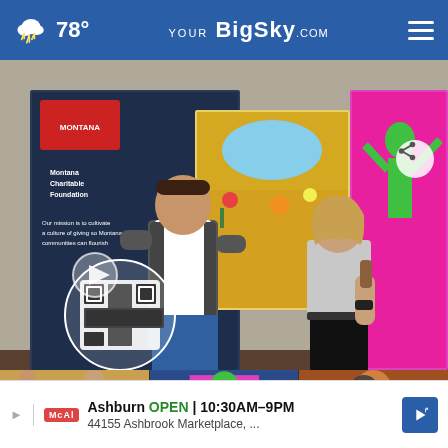78° YourBigSky.com
[Figure (photo): Video screenshot of a man in a gray vest and woman holding a microphone standing in an office/gallery with colorful murals. Montana Charitable Foundation banner visible. QR code overlay on lower left.]
[Figure (photo): Thumbnail strip showing three small preview images from related videos]
Ashburn OPEN | 10:30AM–9PM
44155 Ashbrook Marketplace, ...